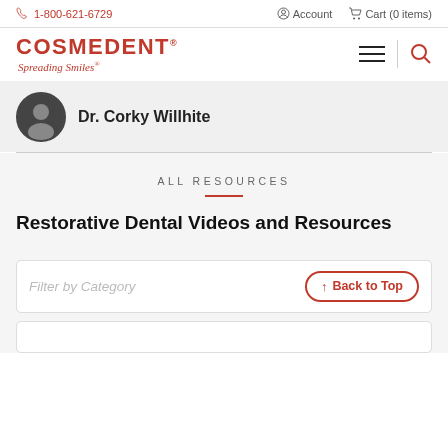1-800-621-6729  Account  Cart (0 items)
[Figure (logo): Cosmedent logo with red text 'COSMEDENT' and italic tagline 'Spreading Smiles']
Dr. Corky Willhite
ALL RESOURCES
Restorative Dental Videos and Resources
Filter by Category
↑ Back to Top